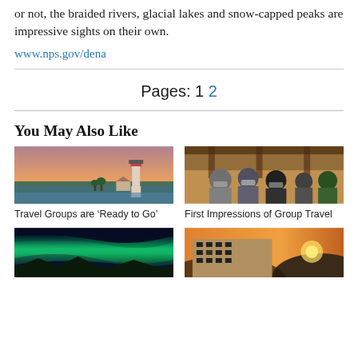or not, the braided rivers, glacial lakes and snow-capped peaks are impressive sights on their own.
www.nps.gov/dena
Pages: 1 2
You May Also Like
[Figure (photo): Lighthouse at sunset on rocky coast]
Travel Groups are ‘Ready to Go’
[Figure (photo): Group of people wearing masks indoors]
First Impressions of Group Travel
[Figure (photo): Northern lights / aurora borealis over landscape]
[Figure (photo): Building exterior at sunset with hills]